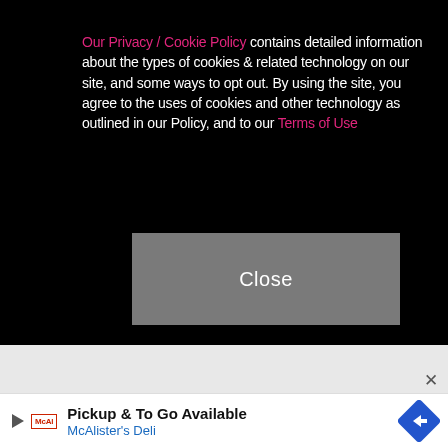Our Privacy / Cookie Policy contains detailed information about the types of cookies & related technology on our site, and some ways to opt out. By using the site, you agree to the uses of cookies and other technology as outlined in our Policy, and to our Terms of Use
[Figure (other): Gray 'Close' button on black background]
[Figure (other): Advertisement banner for McAlister's Deli - Pickup & To Go Available]